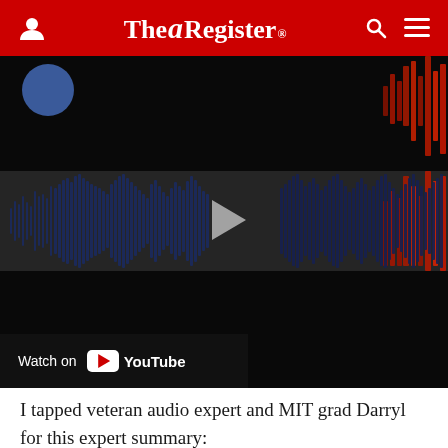The Register
[Figure (screenshot): Audio waveform player embedded in a web page with a play button in the center, red spike visualizations in the upper right, and a 'Watch on YouTube' bar at the bottom left. A blue avatar circle is visible in the top-left corner.]
I tapped veteran audio expert and MIT grad Darryl for this expert summary: